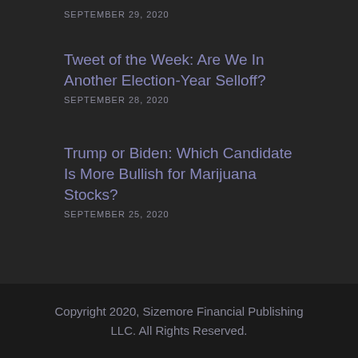SEPTEMBER 29, 2020
Tweet of the Week: Are We In Another Election-Year Selloff?
SEPTEMBER 28, 2020
Trump or Biden: Which Candidate Is More Bullish for Marijuana Stocks?
SEPTEMBER 25, 2020
Copyright 2020, Sizemore Financial Publishing LLC. All Rights Reserved.